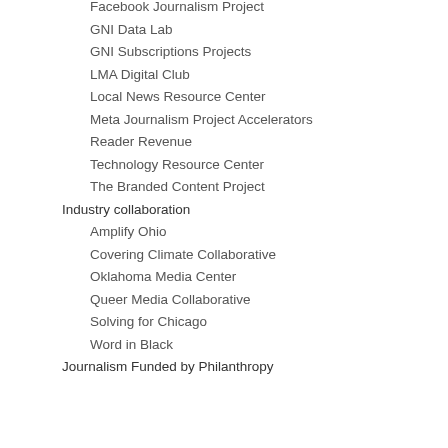Facebook Journalism Project
GNI Data Lab
GNI Subscriptions Projects
LMA Digital Club
Local News Resource Center
Meta Journalism Project Accelerators
Reader Revenue
Technology Resource Center
The Branded Content Project
Industry collaboration
Amplify Ohio
Covering Climate Collaborative
Oklahoma Media Center
Queer Media Collaborative
Solving for Chicago
Word in Black
Journalism Funded by Philanthropy